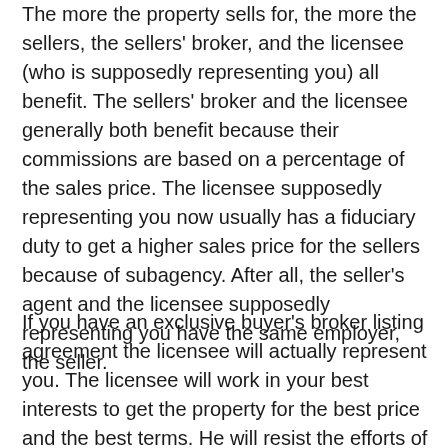The more the property sells for, the more the sellers, the sellers' broker, and the licensee (who is supposedly representing you) all benefit.  The sellers' broker and the licensee generally both benefit because their commissions are based on a percentage of the sales price. The licensee supposedly representing you now usually has a fiduciary duty to get a higher sales price for the sellers because of subagency.  After all, the seller's agent and the licensee supposedly representing you have the same employer, the seller.
If you have an exclusive buyer's broker listing agreement the licensee will actually represent you.  The licensee will work in your best interests to get the property for the best price and the best terms.  He will resist the efforts of the seller and